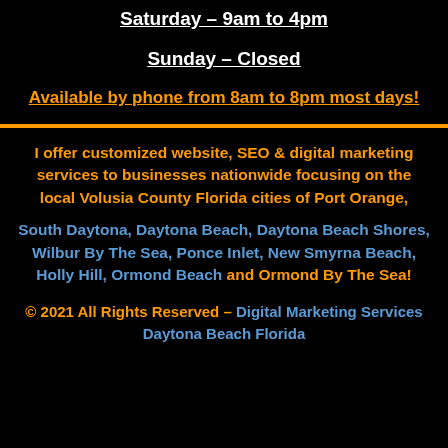Saturday – 9am to 4pm
Sunday – Closed
Available by phone from 8am to 8pm most days!
I offer customized website, SEO & digital marketing services to businesses nationwide focusing on the local Volusia County Florida cities of Port Orange, South Daytona, Daytona Beach, Daytona Beach Shores, Wilbur By The Sea, Ponce Inlet, New Smyrna Beach, Holly Hill, Ormond Beach and Ormond By The Sea!
© 2021 All Rights Reserved – Digital Marketing Services Daytona Beach Florida